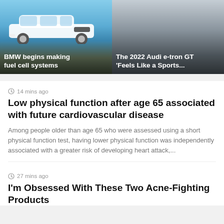[Figure (photo): White BMW SUV on a road with blue sky background, card overlay with title]
BMW begins making fuel cell systems
[Figure (photo): Dark gradient background card for Audi e-tron GT article]
The 2022 Audi e-tron GT 'Feels Like a Sports...
14 mins ago
Low physical function after age 65 associated with future cardiovascular disease
Among people older than age 65 who were assessed using a short physical function test, having lower physical function was independently associated with a greater risk of developing heart attack,...
27 mins ago
I'm Obsessed With These Two Acne-Fighting Products